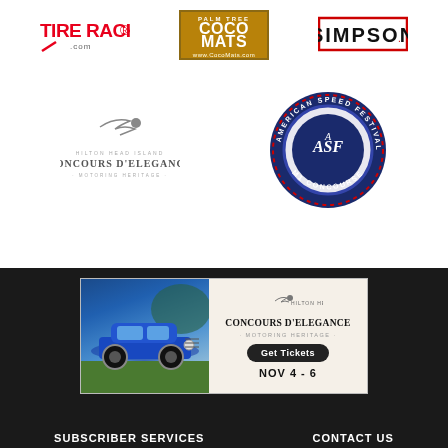[Figure (logo): Tire Rack .com logo in red with checkmark]
[Figure (logo): Palm Tree Coco Mats logo in orange/brown box with www.CocoMats.com]
[Figure (logo): Simpson logo in red bordered box]
[Figure (logo): Hilton Head Island Concours d'Elegance motoring heritage logo]
[Figure (logo): American Speed Festival M1 Concourse circular badge in blue and red]
[Figure (photo): Advertisement banner: blue vintage car on left, Hilton Head Island Concours d'Elegance Get Tickets NOV 4-6 on right]
SUBSCRIBER SERVICES    CONTACT US